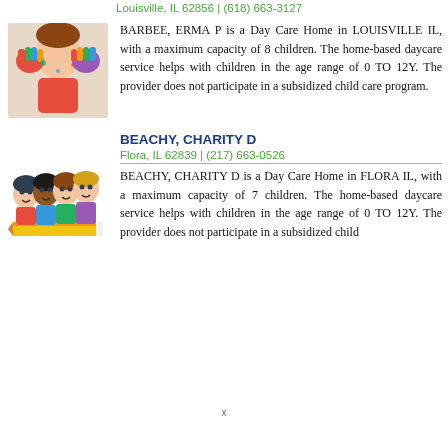Louisville, IL 62856 | (618) 663-3127
BARBEE, ERMA P is a Day Care Home in LOUISVILLE IL, with a maximum capacity of 8 children. The home-based daycare service helps with children in the age range of 0 TO 12Y. The provider does not participate in a subsidized child care program.
[Figure (illustration): Child with painted hands covering face, colorful paint on hands]
BEACHY, CHARITY D
Flora, IL 62839 | (217) 663-0526
BEACHY, CHARITY D is a Day Care Home in FLORA IL, with a maximum capacity of 7 children. The home-based daycare service helps with children in the age range of 0 TO 12Y. The provider does not participate in a subsidized child
[Figure (illustration): Cartoon children with pencil illustration]